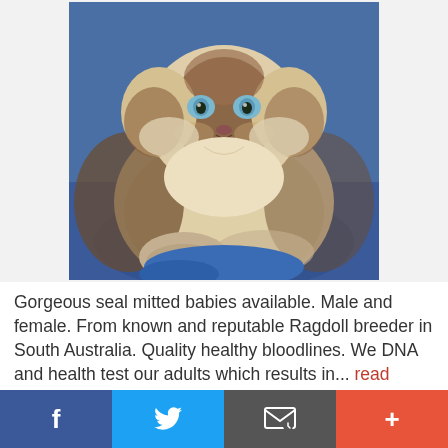[Figure (photo): Close-up photo of a fluffy Ragdoll kitten with seal mitted coloring, blue eyes, sitting on a blue fabric background.]
Gorgeous seal mitted babies available. Male and female. From known and reputable Ragdoll breeder in South Australia. Quality healthy bloodlines. We DNA and health test our adults which results in... read more